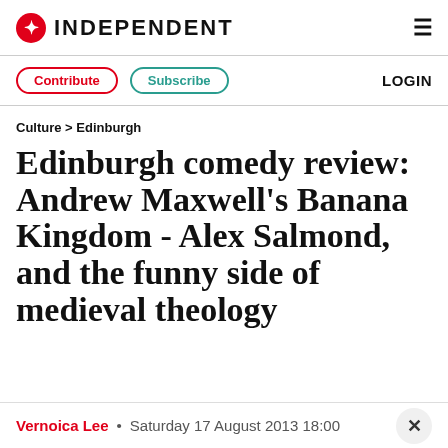INDEPENDENT
Contribute  Subscribe  LOGIN
Culture > Edinburgh
Edinburgh comedy review: Andrew Maxwell's Banana Kingdom - Alex Salmond, and the funny side of medieval theology
Vernoica Lee • Saturday 17 August 2013 18:00